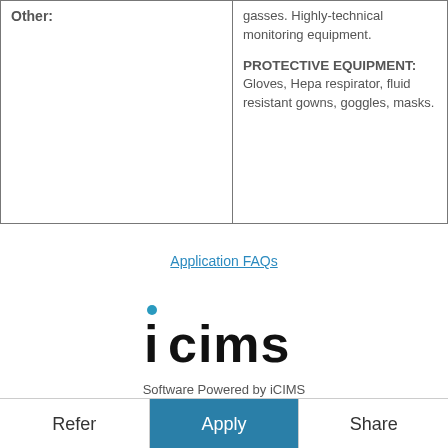| Other: | Hazards / Protective Equipment |
| --- | --- |
|  | gasses.  Highly-technical monitoring equipment.

PROTECTIVE EQUIPMENT:
Gloves, Hepa respirator, fluid resistant gowns, goggles, masks. |
Application FAQs
[Figure (logo): iCIMS logo with teal dot above lowercase i]
Software Powered by iCIMS
Refer  Apply  Share